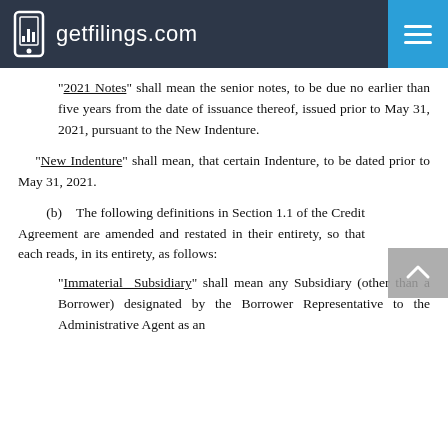getfilings.com
‘2021 Notes’ shall mean the senior notes, to be due no earlier than five years from the date of issuance thereof, issued prior to May 31, 2021, pursuant to the New Indenture.
‘New Indenture’ shall mean, that certain Indenture, to be dated prior to May 31, 2021.
(b) The following definitions in Section 1.1 of the Credit Agreement are amended and restated in their entirety, so that each reads, in its entirety, as follows:
‘Immaterial Subsidiary’ shall mean any Subsidiary (other than a Borrower) designated by the Borrower Representative to the Administrative Agent as an